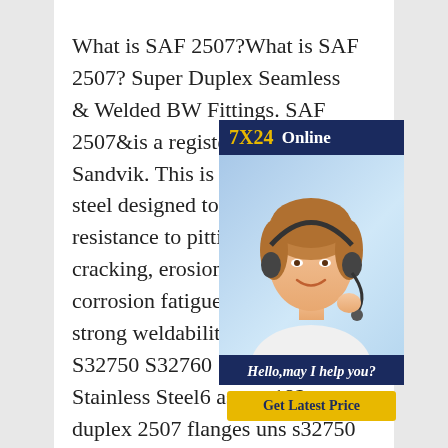What is SAF 2507?What is SAF 2507? Super Duplex Seamless & Welded BW Fittings. SAF 2507&is a registered trademark for Sandvik. This is a alloy stainless steel designed to have high strength, resistance to pitting corrosion cracking, erosion corrosion fatigue, crevice corrosion, strong weldability.Super Duplex S32750 S32760 Super Duplex Stainless Steel6 astm a182 super duplex 2507 flanges uns s32750 s32760 Super Duplex Steel 2507 Flanges, ASTM A182 S32750 /
[Figure (photo): Customer service representative widget with '7X24 Online' header in navy blue, photo of smiling woman with headset, 'Hello,may I help you?' text, and yellow 'Get Latest Price' button]